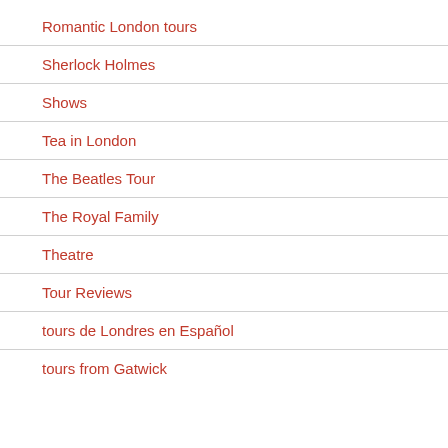Romantic London tours
Sherlock Holmes
Shows
Tea in London
The Beatles Tour
The Royal Family
Theatre
Tour Reviews
tours de Londres en Español
tours from Gatwick